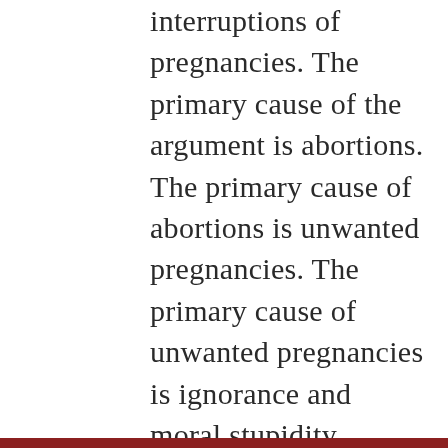interruptions of pregnancies. The primary cause of the argument is abortions. The primary cause of abortions is unwanted pregnancies. The primary cause of unwanted pregnancies is ignorance and moral stupidity. Those who think that simply by passing a law, mindlessly, they can fix a problem are the primary part of the problem. It’s all about